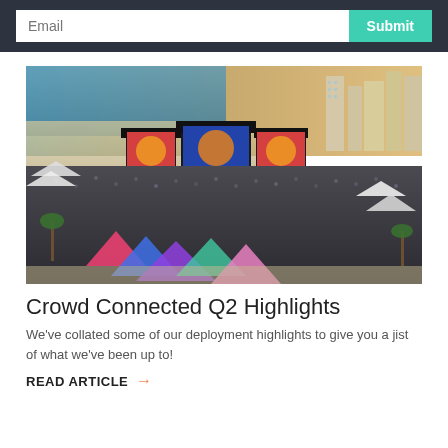Email | Submit
[Figure (photo): Aerial view of a large outdoor music festival on a beach. A massive crowd of people fills the sandy area in front of a large main stage with colorful screens showing sunset imagery. Beachfront buildings and the ocean are visible in the background. Colorful festival structures visible in the foreground.]
Crowd Connected Q2 Highlights
We've collated some of our deployment highlights to give you a jist of what we've been up to!
READ ARTICLE →